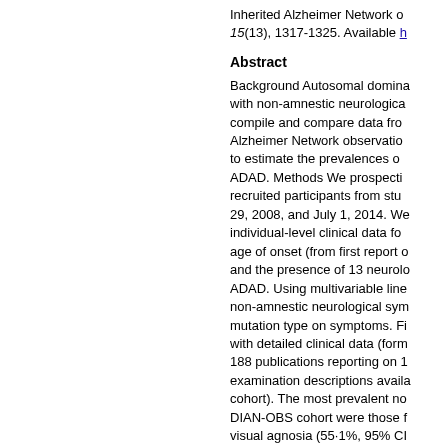Inherited Alzheimer Network of 15(13), 1317-1325. Available h
Abstract
Background Autosomal domina with non-amnestic neurologica compile and compare data fro Alzheimer Network observatio to estimate the prevalences o ADAD. Methods We prospecti recruited participants from stu 29, 2008, and July 1, 2014. W individual-level clinical data fo age of onset (from first report and the presence of 13 neurolo ADAD. Using multivariable line non-amnestic neurological sym mutation type on symptoms. F with detailed clinical data (for 188 publications reporting on 1 examination descriptions avail cohort). The most prevalent no DIAN-OBS cohort were those f visual agnosia (55·1%, 95% CI changes (61·7%, 51·5–70·0). M